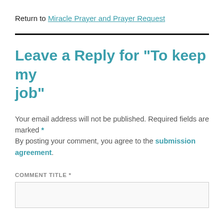Return to Miracle Prayer and Prayer Request
Leave a Reply for "To keep my job"
Your email address will not be published. Required fields are marked *
By posting your comment, you agree to the submission agreement.
COMMENT TITLE *
[Figure (other): Empty text input box for comment title]